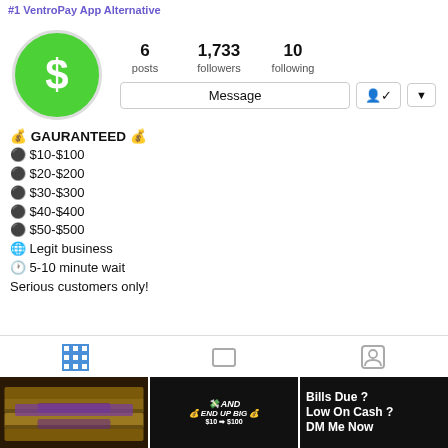#1 VentroPay App Alternative
[Figure (screenshot): Instagram profile screenshot showing Cash App logo (green circle with dollar sign), stats: 6 posts, 1,733 followers, 10 following, Message button, follow/dropdown buttons]
💰 GAURANTEED 💰
⚫ $10-$100
⚫ $20-$200
⚫ $30-$300
⚫ $40-$400
⚫ $50-$500
🌐 Legit business
🕐 5-10 minute wait
Serious customers only!
[Figure (screenshot): Instagram grid/video/tagged tab icons]
[Figure (photo): Three Instagram post thumbnails: cash stacks, AND END UP BIG $10->$100 ad, Bills Due? Low On Cash? DM Me Now text]